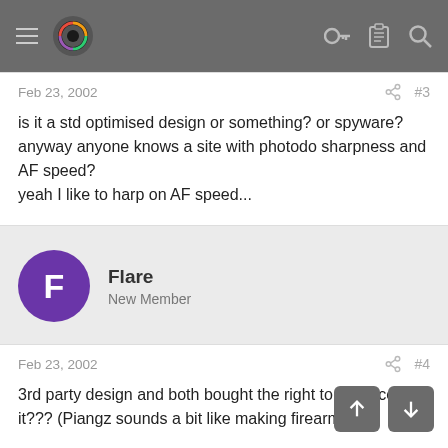[Figure (screenshot): Forum website top navigation bar with hamburger menu, colorful eye logo, key icon, clipboard icon, and search icon on gray background]
Feb 23, 2002
#3
is it a std optimised design or something? or spyware? anyway anyone knows a site with photodo sharpness and AF speed? yeah I like to harp on AF speed...
Flare
New Member
Feb 23, 2002
#4
3rd party design and both bought the right to produce it??? (Piangz sounds a bit like making firearms ley)
ckiang